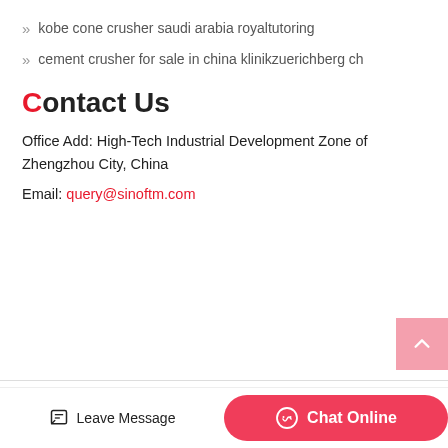» kobe cone crusher saudi arabia royaltutoring
» cement crusher for sale in china klinikzuerichberg ch
Contact Us
Office Add: High-Tech Industrial Development Zone of Zhengzhou City, China
Email: query@sinoftm.com
Copyright © 2022. Scatan Mining Machinery Co., ltd. All rights reserved. Sitemap
Leave Message
Chat Online